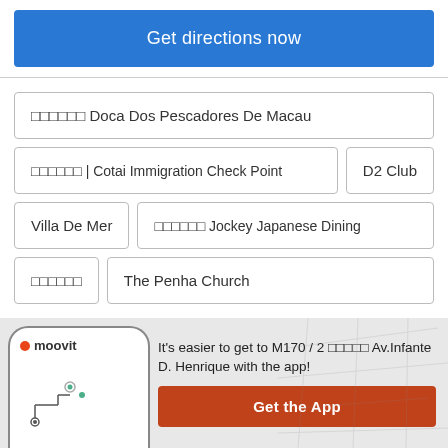Get directions now
□□□□□□ Doca Dos Pescadores De Macau
□□□□□□ | Cotai Immigration Check Point
D2 Club
Villa De Mer
□□□□□□ Jockey Japanese Dining
□□□□□□
The Penha Church
It's easier to get to M170 / 2 □□□□□ Av.Infante D. Henrique with the app!
Get the App